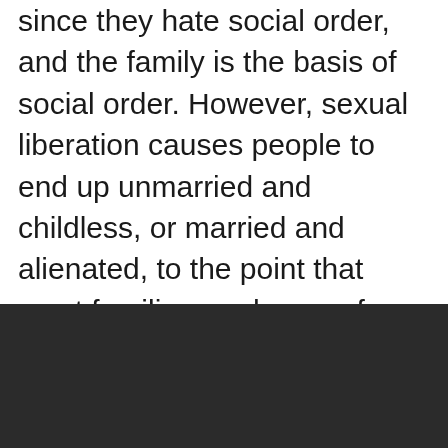since they hate social order, and the family is the basis of social order. However, sexual liberation causes people to end up unmarried and childless, or married and alienated, to the point that most families are horrors from which children scramble to escape. In the name of empowering the individual, we have doomed her to a life of low-grade misery hidden behind chrome, plastic, money, and endless propaganda.
[Figure (other): Dark rectangular block at the bottom of the page, approximately dark charcoal/black color.]